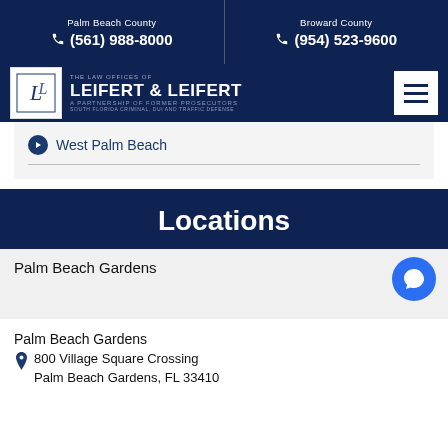Palm Beach County (561) 988-8000 | Broward County (954) 523-9600
[Figure (logo): Leifert & Leifert law firm logo with stylized LL monogram and text: THE LAW OFFICES OF LEIFERT & LEIFERT A PARTNERSHIP OF FORMER PROSECUTORS SOUTH FLORIDA CRIMINAL, DUI AND TRAFFIC DEFENSE]
West Palm Beach
Locations
Palm Beach Gardens
Palm Beach Gardens
800 Village Square Crossing
Palm Beach Gardens, FL 33410